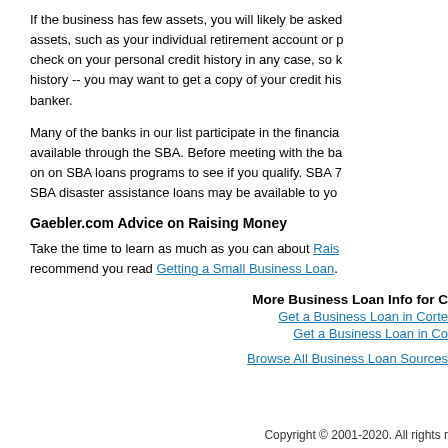If the business has few assets, you will likely be asked to pledge personal assets, such as your individual retirement account or personal savings. They'll check on your personal credit history in any case, so be aware of your credit history -- you may want to get a copy of your credit history before visiting your banker.
Many of the banks in our list participate in the financial assistance programs available through the SBA. Before meeting with the bank, do some research on on SBA loans programs to see if you qualify. SBA 7... SBA disaster assistance loans may be available to yo...
Gaebler.com Advice on Raising Money
Take the time to learn as much as you can about Rais... recommend you read Getting a Small Business Loan.
More Business Loan Info for C...
Get a Business Loan in Corte...
Get a Business Loan in Co...
Browse All Business Loan Sources...
Copyright © 2001-2020. All rights r...